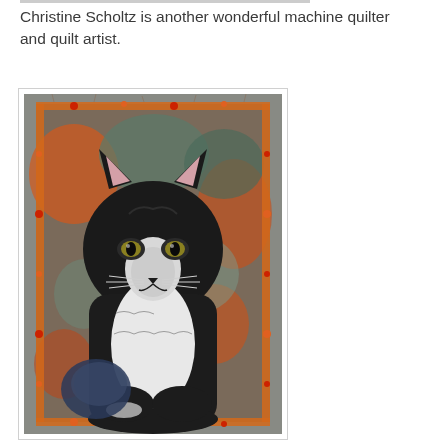Christine Scholtz is another wonderful machine quilter and quilt artist.
[Figure (photo): A quilt artwork depicting a black and white tuxedo cat sitting in a frontal pose. The cat has pink ears, golden-green eyes, white chest and face markings, with black fur on top. The quilt background features colorful batik fabric in oranges, greens, blues. The quilt border has orange fringe/trim with red and orange decorative knots. The overall quilt is displayed on a gray background.]